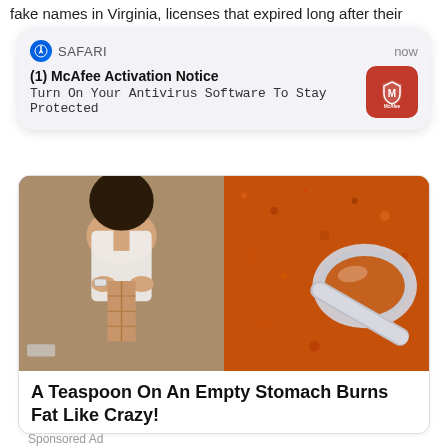fake names in Virginia, licenses that expired long after their
[Figure (screenshot): Safari browser notification card showing McAfee Activation Notice: Turn On Your Antivirus Software To Stay Protected, with McAfee red icon, timestamped 'now']
[Figure (photo): Two side-by-side images: left shows a fit woman in a white tank top lifting it to show abs; right shows a spoon filled with orange spice powder]
A Teaspoon On An Empty Stomach Burns Fat Like Crazy!
Big pharma doesn't want you to know about this new fat-blocking code.
Find Out More
151,648
Sponsored Ad